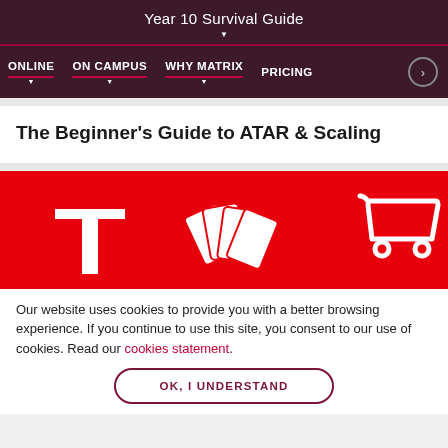Year 10 Survival Guide
ONLINE | ON CAMPUS | WHY MATRIX | PRICING
The Beginner's Guide to ATAR & Scaling
[Figure (illustration): Red background with white illustrated icons: letter T, playing cards fan, and a shopping cart outline]
Our website uses cookies to provide you with a better browsing experience. If you continue to use this site, you consent to our use of cookies. Read our cookies statement.
OK, I UNDERSTAND